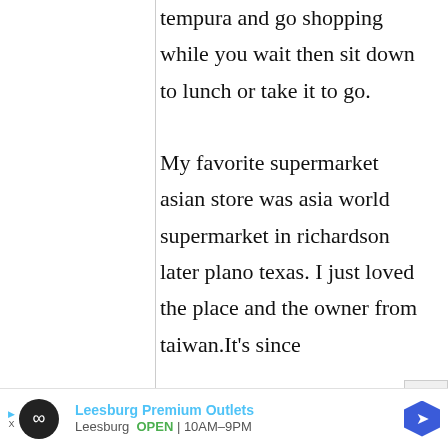tempura and go shopping while you wait then sit down to lunch or take it to go.

My favorite supermarket asian store was asia world supermarket in richardson later plano texas. I just loved the place and the owner from taiwan.It's since
[Figure (other): Advertisement banner for Leesburg Premium Outlets showing logo, name, location and hours: OPEN 10AM-9PM]